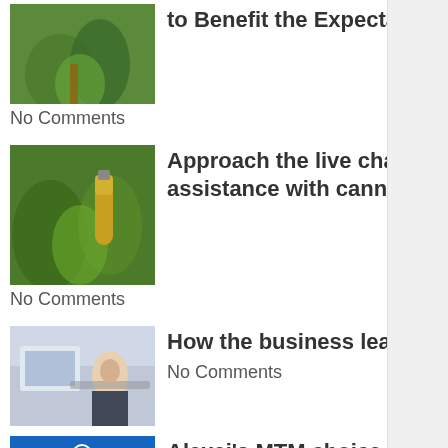[Figure (photo): Plant/botanical image thumbnail]
to Benefit the Expectations of Customers
No Comments
[Figure (photo): Cannabis product with oil bottle and plant]
Approach the live chat service to get the best assistance with cannabis products.
No Comments
[Figure (photo): Business person working at computer/desk]
How the business leader makes business success?
No Comments
[Figure (illustration): Blue background with white human figure icons]
Alexei's MTM choice: Makes the brand stand out
No Comments
[Figure (photo): Finance/AI technology image with dark background]
The Impact Of AI On Finance
No Comments
[Figure (photo): Blue technology/product category image]
Select the product category